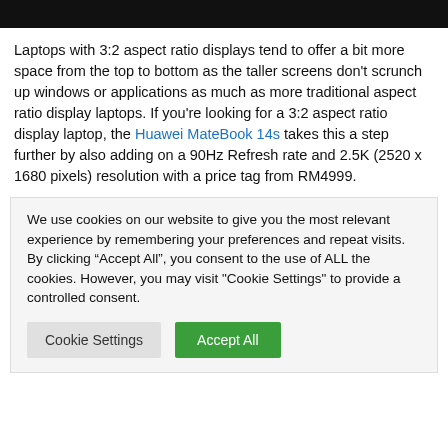[Figure (other): Black header bar at top of page]
Laptops with 3:2 aspect ratio displays tend to offer a bit more space from the top to bottom as the taller screens don't scrunch up windows or applications as much as more traditional aspect ratio display laptops. If you're looking for a 3:2 aspect ratio display laptop, the Huawei MateBook 14s takes this a step further by also adding on a 90Hz Refresh rate and 2.5K (2520 x 1680 pixels) resolution with a price tag from RM4999.
We use cookies on our website to give you the most relevant experience by remembering your preferences and repeat visits. By clicking “Accept All”, you consent to the use of ALL the cookies. However, you may visit "Cookie Settings" to provide a controlled consent.